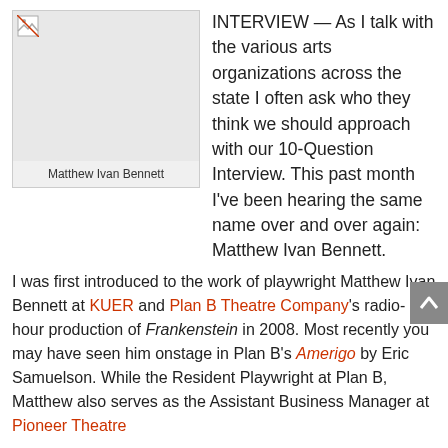[Figure (photo): Image placeholder of Matthew Ivan Bennett with caption below]
Matthew Ivan Bennett
INTERVIEW — As I talk with the various arts organizations across the state I often ask who they think we should approach with our 10-Question Interview.  This past month I've been hearing the same name over and over again: Matthew Ivan Bennett.
I was first introduced to the work of playwright Matthew Ivan Bennett at KUER and Plan B Theatre Company's radio-hour production of Frankenstein in 2008.  Most recently you may have seen him onstage in Plan B's Amerigo by Eric Samuelson.  While the Resident Playwright at Plan B, Matthew also serves as the Assistant Business Manager at Pioneer Theatre